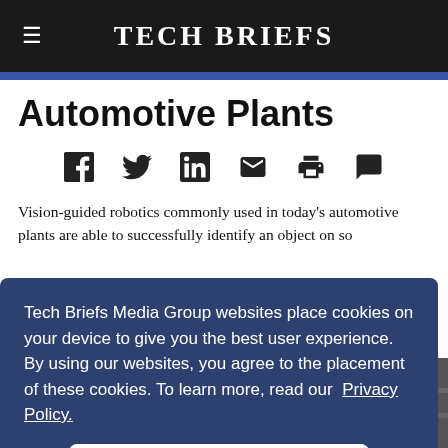Tech Briefs
Automotive Plants
[Figure (other): Social sharing icons: Facebook, Twitter, LinkedIn, Email, Print, Comment]
Vision-guided robotics commonly used in today's automotive plants are able to successfully identify an object on so
Tech Briefs Media Group websites place cookies on your device to give you the best user experience. By using our websites, you agree to the placement of these cookies. To learn more, read our Privacy Policy.
Accept & Continue
[Figure (photo): Partial photo of robotic equipment in automotive plant, visible in bottom-right corner]